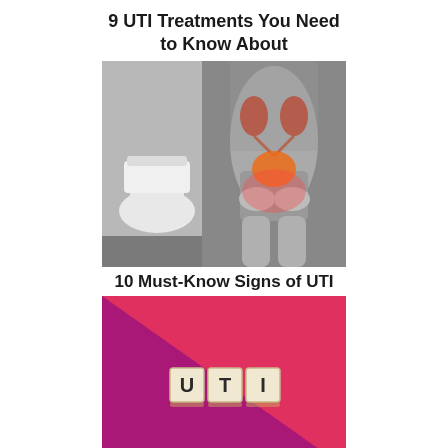9 UTI Treatments You Need to Know About
[Figure (photo): Black and white photo of a woman holding her lower abdomen near a toilet, with a colorful anatomical overlay of kidneys and bladder highlighted in red/orange]
10 Must-Know Signs of UTI
[Figure (photo): Wooden letter blocks spelling 'UTI' on a split background of magenta/purple and coral/red colors]
9 UTI Treatments You Need